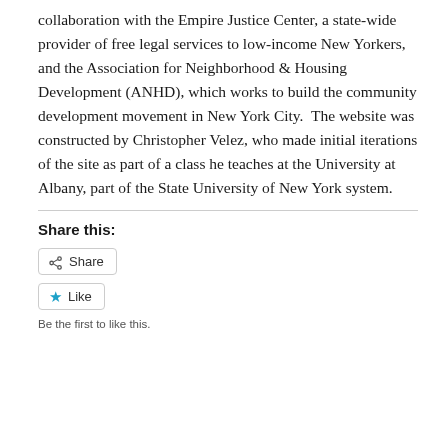collaboration with the Empire Justice Center, a state-wide provider of free legal services to low-income New Yorkers, and the Association for Neighborhood & Housing Development (ANHD), which works to build the community development movement in New York City.  The website was constructed by Christopher Velez, who made initial iterations of the site as part of a class he teaches at the University at Albany, part of the State University of New York system.
Share this:
Share
Like
Be the first to like this.